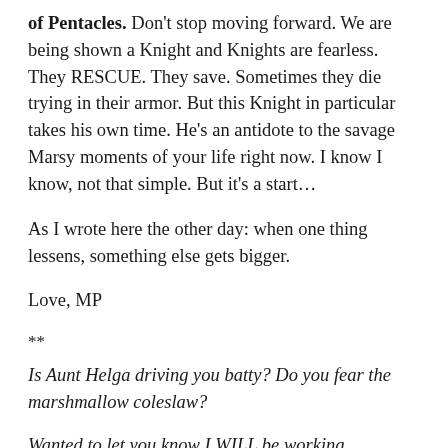of Pentacles. Don't stop moving forward. We are being shown a Knight and Knights are fearless. They RESCUE. They save. Sometimes they die trying in their armor. But this Knight in particular takes his own time. He's an antidote to the savage Marsy moments of your life right now. I know I know, not that simple. But it's a start…
As I wrote here the other day: when one thing lessens, something else gets bigger.
Love, MP
**
Is Aunt Helga driving you batty? Do you fear the marshmallow coleslaw?
Wanted to let you know I WILL be working